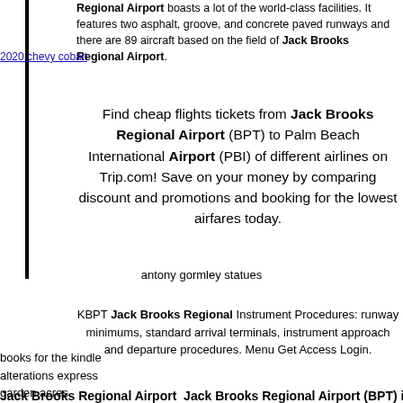Regional Airport boasts a lot of the world-class facilities. It features two asphalt, groove, and concrete paved runways and there are 89 aircraft based on the field of Jack Brooks Regional Airport.
2020 chevy cobalt
Find cheap flights tickets from Jack Brooks Regional Airport (BPT) to Palm Beach International Airport (PBI) of different airlines on Trip.com! Save on your money by comparing discount and promotions and booking for the lowest airfares today.
antony gormley statues
KBPT Jack Brooks Regional Instrument Procedures: runway minimums, standard arrival terminals, instrument approach and departure procedures. Menu Get Access Login.
books for the kindle
alterations express
garden acres
Jack Brooks Regional Airport  Jack Brooks Regional Airport (BPT) in Bort